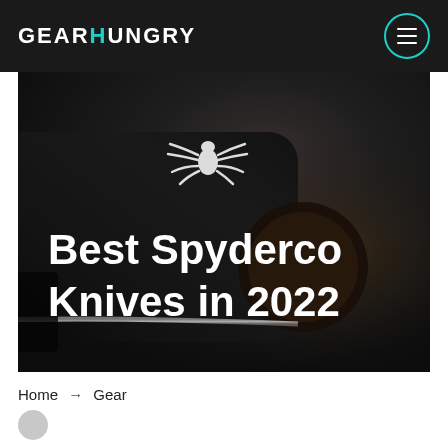GEARHUNGRY
[Figure (photo): Dark close-up photo of a Spyderco knife handle with the Spyderco spider logo visible, set against a dark textured background. White text overlay reads 'Best Spyderco Knives in 2022'.]
Best Spyderco Knives in 2022
Home → Gear